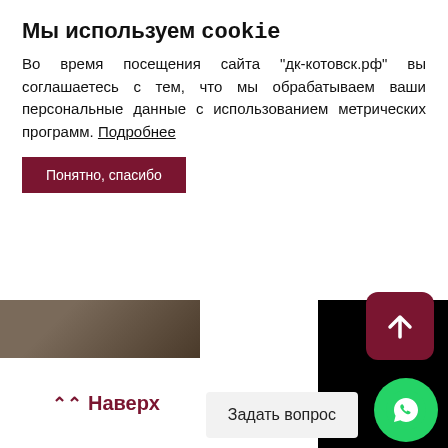Мы используем cookie
Во время посещения сайта "дк-котовск.рф" вы соглашаетесь с тем, что мы обрабатываем ваши персональные данные с использованием метрических программ. Подробнее
Понятно, спасибо
⋀ Наверх
[Figure (screenshot): Dark/black panel on the right side of the page, with scroll-up button (dark red with white arrow), Задать вопрос button (light grey), and WhatsApp green circle button at bottom right]